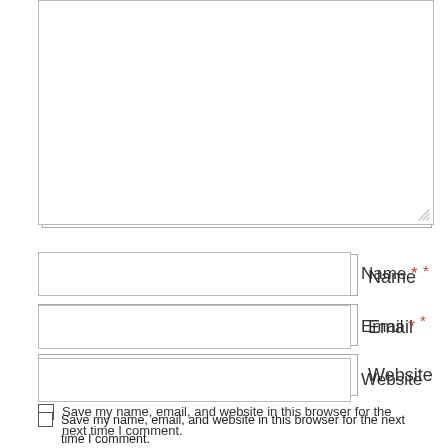[Figure (screenshot): Comment form with textarea (top portion visible), Name field with required asterisk, Email field with required asterisk, Website field, checkbox for saving info, Post Comment button, and reCAPTCHA widget]
Name *
Email *
Website
Save my name, email, and website in this browser for the next time I comment.
Post Comment
Privacy · Terms